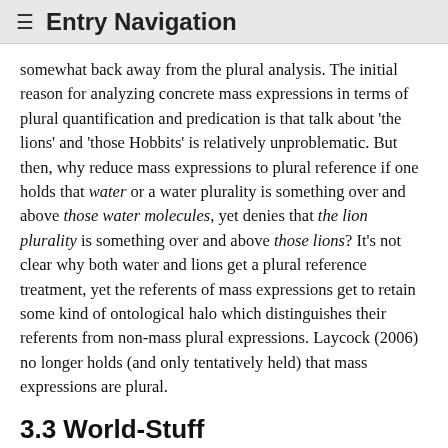☰ Entry Navigation
somewhat back away from the plural analysis. The initial reason for analyzing concrete mass expressions in terms of plural quantification and predication is that talk about 'the lions' and 'those Hobbits' is relatively unproblematic. But then, why reduce mass expressions to plural reference if one holds that water or a water plurality is something over and above those water molecules, yet denies that the lion plurality is something over and above those lions? It's not clear why both water and lions get a plural reference treatment, yet the referents of mass expressions get to retain some kind of ontological halo which distinguishes their referents from non-mass plural expressions. Laycock (2006) no longer holds (and only tentatively held) that mass expressions are plural.
3.3 World-Stuff
Some stuff ontologists eliminate concrete things altogether. There is only stuff, objects being accidental phases of objectively non-objectual stuff. Alternatively,